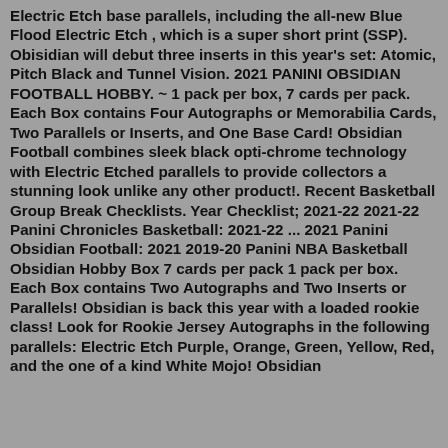Electric Etch base parallels, including the all-new Blue Flood Electric Etch , which is a super short print (SSP). Obisidian will debut three inserts in this year's set: Atomic, Pitch Black and Tunnel Vision. 2021 PANINI OBSIDIAN FOOTBALL HOBBY. ~ 1 pack per box, 7 cards per pack. Each Box contains Four Autographs or Memorabilia Cards, Two Parallels or Inserts, and One Base Card! Obsidian Football combines sleek black opti-chrome technology with Electric Etched parallels to provide collectors a stunning look unlike any other product!. Recent Basketball Group Break Checklists. Year Checklist; 2021-22 2021-22 Panini Chronicles Basketball: 2021-22 ... 2021 Panini Obsidian Football: 2021 2019-20 Panini NBA Basketball Obsidian Hobby Box 7 cards per pack 1 pack per box. Each Box contains Two Autographs and Two Inserts or Parallels! Obsidian is back this year with a loaded rookie class! Look for Rookie Jersey Autographs in the following parallels: Electric Etch Purple, Orange, Green, Yellow, Red, and the one of a kind White Mojo! Obsidian...